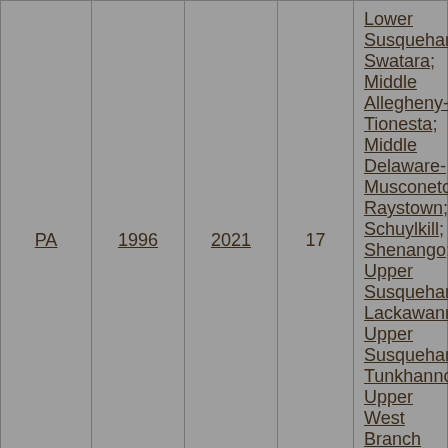| State | Year Start | Year End | Count | Watershed Names |
| --- | --- | --- | --- | --- |
| PA | 1996 | 2021 | 17 | Lower Susquehanna-Swatara; Middle Allegheny-Tionesta; Middle Delaware-Musconetcong; Raystown; Schuylkill; Shenango; Upper Susquehanna-Lackawanna; Upper Susquehanna-Tunkhannock; Upper West Branch Susquehanna |
| PR | 2007 | 2011 | 2 | Culebrinas-Guanajibo; Eastern Puerto Rico |
|  |  |  |  | Carolina Coastal-Sampit; Cooper; |